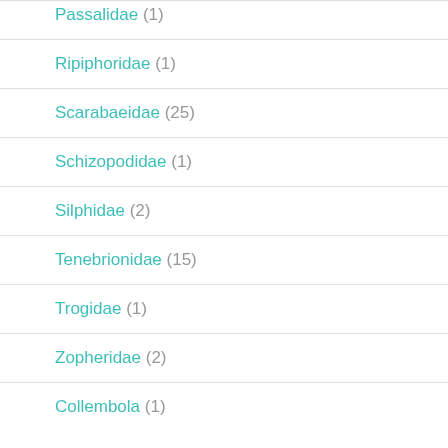Passalidae (1)
Ripiphoridae (1)
Scarabaeidae (25)
Schizopodidae (1)
Silphidae (2)
Tenebrionidae (15)
Trogidae (1)
Zopheridae (2)
Collembola (1)